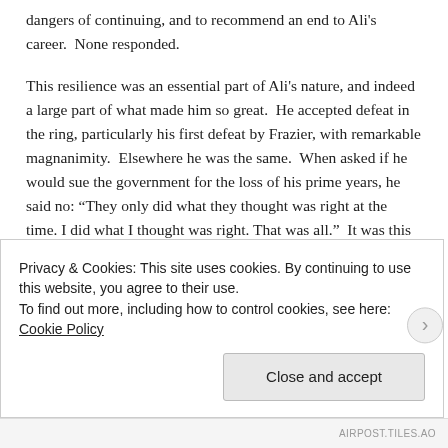dangers of continuing, and to recommend an end to Ali's career.  None responded.
This resilience was an essential part of Ali's nature, and indeed a large part of what made him so great.  He accepted defeat in the ring, particularly his first defeat by Frazier, with remarkable magnanimity.  Elsewhere he was the same.  When asked if he would sue the government for the loss of his prime years, he said no: “They only did what they thought was right at the time. I did what I thought was right. That was all.”  It was this same equanimity and determination in the face of impending or actual disaster that allowed him to beat Foreman, and to
Privacy & Cookies: This site uses cookies. By continuing to use this website, you agree to their use.
To find out more, including how to control cookies, see here: Cookie Policy
Close and accept
AIRPOST.TILES.AO